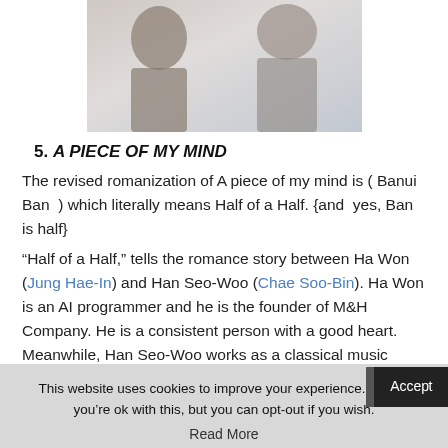[Figure (photo): Two people (a man on the left, a woman on the right) in a cropped portrait photo, light background.]
5. A PIECE OF MY MIND
The revised romanization of A piece of my mind is ( Banui Ban ) which literally means Half of a Half. {and yes, Ban is half}
“Half of a Half,” tells the romance story between Ha Won (Jung Hae-In) and Han Seo-Woo (Chae Soo-Bin). Ha Won is an AI programmer and he is the founder of M&H Company. He is a consistent person with a good heart. Meanwhile, Han Seo-Woo works as a classical music recording engineer. Her life is unstable without a family or house, but she is a positive person.
This website uses cookies to improve your experience. We'll as you're ok with this, but you can opt-out if you wish. Accept Read More